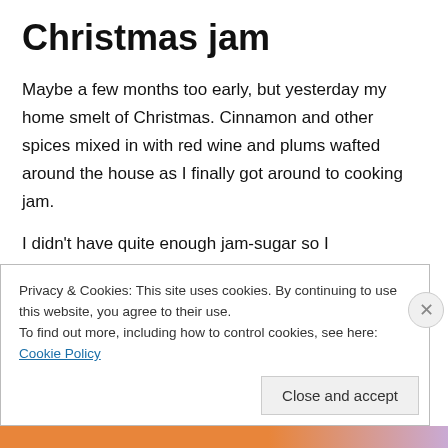Christmas jam
Maybe a few months too early, but yesterday my home smelt of Christmas. Cinnamon and other spices mixed in with red wine and plums wafted around the house as I finally got around to cooking jam.
I didn't have quite enough jam-sugar so I experimented. Through online research I found out that the main ingredients that makes jam, well, 'jammy', is pectin and since plums are high in pectin (like apples, citrus rinds and cranberries) I decided that plain sugar would suffice. Being
Privacy & Cookies: This site uses cookies. By continuing to use this website, you agree to their use.
To find out more, including how to control cookies, see here: Cookie Policy
Close and accept